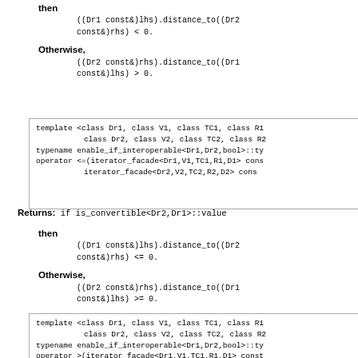then
((Dr1 const&)lhs).distance_to((Dr2 const&)rhs) < 0.
Otherwise,
((Dr2 const&)rhs).distance_to((Dr1 const&)lhs) > 0.
[Figure (screenshot): Code block: template <class Dr1, class V1, class TC1, class R1, class Dr2, class V2, class TC2, class R2 typename enable_if_interoperable<Dr1,Dr2,bool>::ty operator <=(iterator_facade<Dr1,V1,TC1,R1,D1> cons iterator_facade<Dr2,V2,TC2,R2,D2> cons]
Returns: if is_convertible<Dr2,Dr1>::value
then
((Dr1 const&)lhs).distance_to((Dr2 const&)rhs) <= 0.
Otherwise,
((Dr2 const&)rhs).distance_to((Dr1 const&)lhs) >= 0.
[Figure (screenshot): Code block: template <class Dr1, class V1, class TC1, class R1, class Dr2, class V2, class TC2, class R2 typename enable_if_interoperable<Dr1,Dr2,bool>::ty operator >(iterator_facade<Dr1,V1,TC1,R1,D1> const]